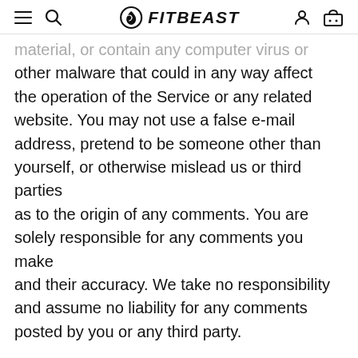FITBEAST
material, or contain any computer virus or other malware that could in any way affect the operation of the Service or any related website. You may not use a false e-mail address, pretend to be someone other than yourself, or otherwise mislead us or third parties as to the origin of any comments. You are solely responsible for any comments you make and their accuracy. We take no responsibility and assume no liability for any comments posted by you or any third party.
SECTION 10 - PERSONAL INFORMATION
Your submission of personal information through the store is governed by our Privacy